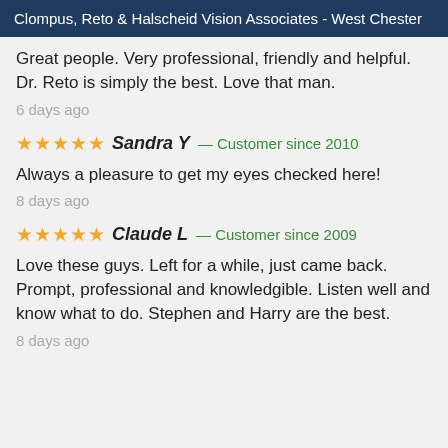Clompus, Reto & Halscheid Vision Associates - West Chester
Great people. Very professional, friendly and helpful. Dr. Reto is simply the best. Love that man.
6 days ago
★★★★★ Sandra Y — Customer since 2010
Always a pleasure to get my eyes checked here!
8 days ago
★★★★★ Claude L — Customer since 2009
Love these guys. Left for a while, just came back. Prompt, professional and knowledgible. Listen well and know what to do. Stephen and Harry are the best.
8 days ago